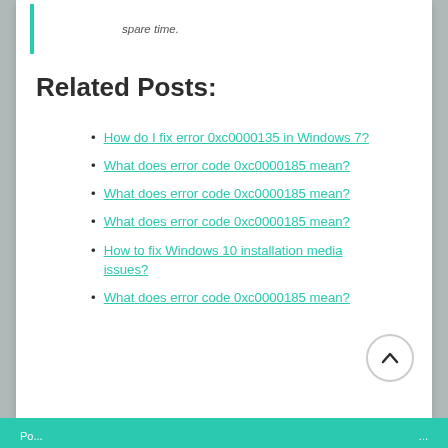spare time.
Related Posts:
How do I fix error 0xc0000135 in Windows 7?
What does error code 0xc0000185 mean?
What does error code 0xc0000185 mean?
What does error code 0xc0000185 mean?
How to fix Windows 10 installation media issues?
What does error code 0xc0000185 mean?